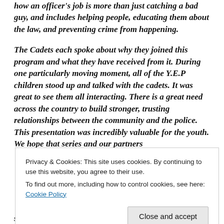how an officer's job is more than just catching a bad guy, and includes helping people, educating them about the law, and preventing crime from happening.
The Cadets each spoke about why they joined this program and what they have received from it. During one particularly moving moment, all of the Y.E.P children stood up and talked with the cadets. It was great to see them all interacting. There is a great need across the country to build stronger, trusting relationships between the community and the police. This presentation was incredibly valuable for the youth. We hope that series and our partners
Privacy & Cookies: This site uses cookies. By continuing to use this website, you agree to their use.
To find out more, including how to control cookies, see here: Cookie Policy
share the Philly 311 Youth Engagement page with